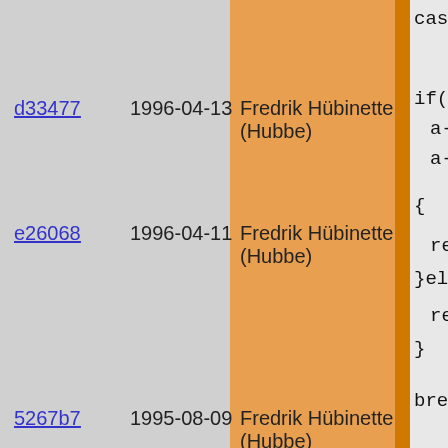| commit | date | author | code |
| --- | --- | --- | --- |
| d33477 | 1996-04-13 | Fredrik Hübinette (Hubbe) | case F_APPLY
  if(a && a-
    a->u.sv
    a->u.sv |
| e26068 | 1996-04-11 | Fredrik Hübinette (Hubbe) | {
  res->no
}else{
  res->no
} |
| 5267b7 | 1995-08-09 | Fredrik Hübinette (Hubbe) | break;

case F_RETUR
  res->node_
  break;

case F_BREAK
  res->node_
  break;

case F_CONTI
  res->node_
  break;

case F_DEFAU
case F_CASE:
  res->node_
  break; |